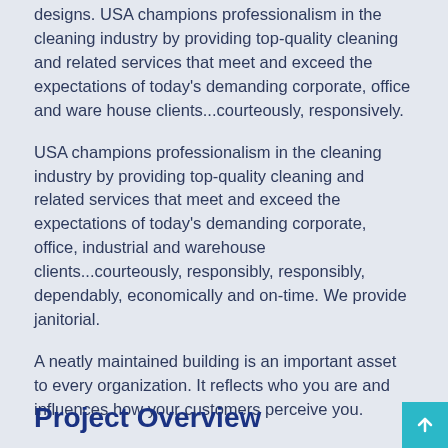designs. USA champions professionalism in the cleaning industry by providing top-quality cleaning and related services that meet and exceed the expectations of today's demanding corporate, office and ware house clients...courteously, responsively.
USA champions professionalism in the cleaning industry by providing top-quality cleaning and related services that meet and exceed the expectations of today's demanding corporate, office, industrial and warehouse clients...courteously, responsibly, dependably, economically and on-time. We provide janitorial.
A neatly maintained building is an important asset to every organization. It reflects who you are and influences how your customers perceive you.
Project Overview